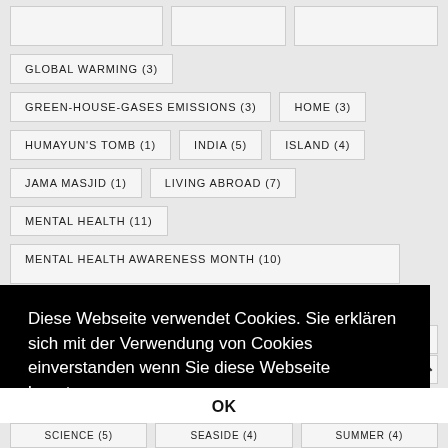GLOBAL WARMING (3)
GREEN-HOUSE-GASES EMISSIONS (3)
HOME (3)
HUMAYUN'S TOMB (1)
INDIA (5)
ISLAND (4)
JAMA MASJID (1)
LIVING ABROAD (7)
MENTAL HEALTH (11)
MENTAL HEALTH AWARENESS MONTH (10)
Diese Webseite verwendet Cookies. Sie erklären sich mit der Verwendung von Cookies einverstanden wenn Sie diese Webseite benutzen.
OK
SCIENCE (5)
SEASIDE (4)
SUMMER (4)